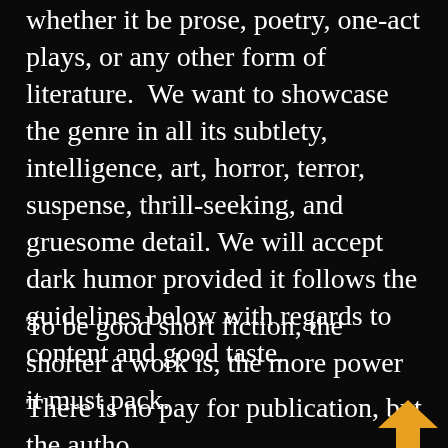whether it be prose, poetry, one-act plays, or any other form of literature.  We want to showcase the genre in all its subtlety, intelligence, art, horror, terror, suspense, thrill-seeking, and gruesome detail. We will accept dark humor provided it follows the guidelines below with regards to content and good taste.
To be good short fiction, the shorter a work is, the more power it must pack.
There is no pay for publication, but the author retains all rights. Reprints are acceptable. Multiple submissions of up to three works per